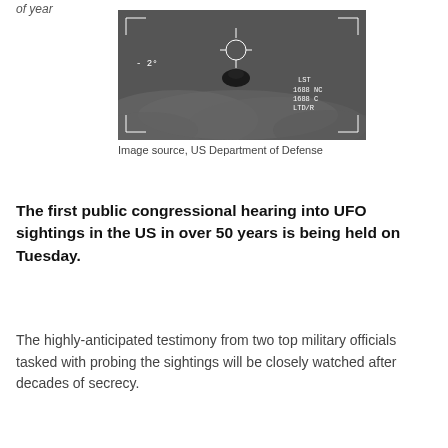of year
[Figure (photo): Black and white infrared military camera footage showing an unidentified aerial phenomenon (UAP/UFO) as a dark object against a cloudy sky, with crosshair/targeting reticle visible, and HUD readouts showing -2° and numbers including 1688, 1688, LTD/R on the right side]
Image source, US Department of Defense
The first public congressional hearing into UFO sightings in the US in over 50 years is being held on Tuesday.
The highly-anticipated testimony from two top military officials tasked with probing the sightings will be closely watched after decades of secrecy.